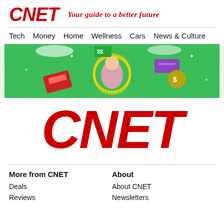CNET — Your guide to a better future
Tech  Money  Home  Wellness  Cars  News & Culture
[Figure (illustration): Colorful CNET advertisement banner showing a meditating figure surrounded by financial/technology items on a green grid background]
CNET
More from CNET
About
Deals
About CNET
Reviews
Newsletters